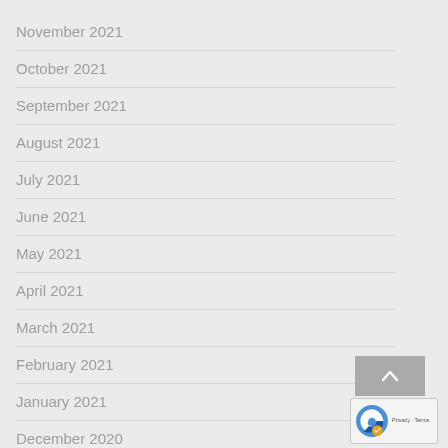November 2021
October 2021
September 2021
August 2021
July 2021
June 2021
May 2021
April 2021
March 2021
February 2021
January 2021
December 2020
November 2020
October 2020
September 2020
August 2020
[Figure (other): Scroll-to-top button (grey square with upward chevron arrow) and reCAPTCHA badge with Privacy and Terms text]